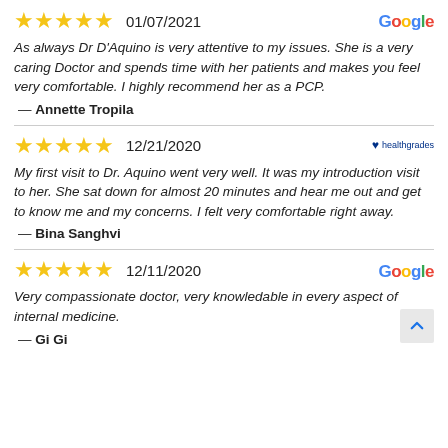★★★★★  01/07/2021
As always Dr D'Aquino is very attentive to my issues. She is a very caring Doctor and spends time with her patients and makes you feel very comfortable. I highly recommend her as a PCP.
— Annette Tropila
★★★★★  12/21/2020
My first visit to Dr. Aquino went very well. It was my introduction visit to her. She sat down for almost 20 minutes and hear me out and get to know me and my concerns. I felt very comfortable right away.
— Bina Sanghvi
★★★★★  12/11/2020
Very compassionate doctor, very knowledable in every aspect of internal medicine.
— Gi Gi